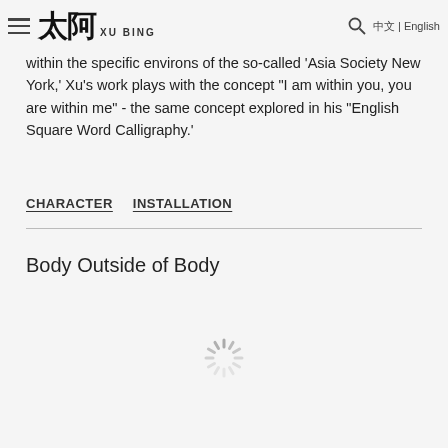Xu Bing | English
within the specific environs of the so-called 'Asia Society New York,' Xu's work plays with the concept "I am within you, you are within me" - the same concept explored in his "English Square Word Calligraphy.'
CHARACTER   INSTALLATION
Body Outside of Body
[Figure (other): Loading spinner graphic in gray]